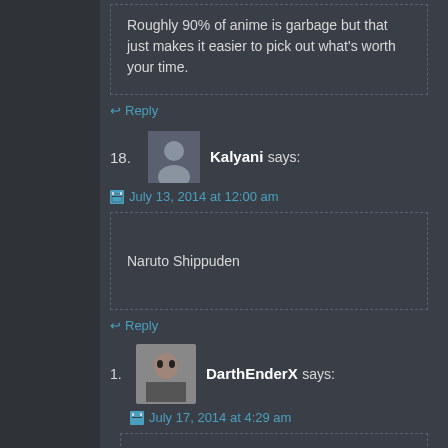Roughly 90% of anime is garbage but that just makes it easier to pick out what's worth your time.
↩ Reply
18. Kalyani says:
July 13, 2014 at 12:00 am
Naruto Shippuden
↩ Reply
1. DarthEnderX says:
July 17, 2014 at 4:29 am
Look, I love Naruto, but it's reputation alone makes it something people would be